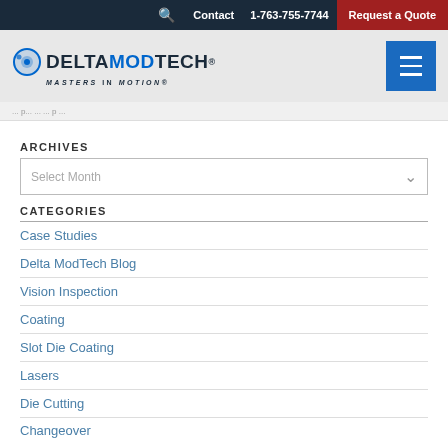Contact  1-763-755-7744  Request a Quote
[Figure (logo): Delta ModTech logo with circular gear icon and tagline MASTERS IN MOTION]
ARCHIVES
Select Month
CATEGORIES
Case Studies
Delta ModTech Blog
Vision Inspection
Coating
Slot Die Coating
Lasers
Die Cutting
Changeover